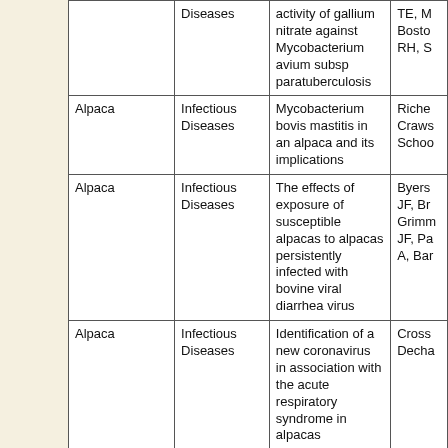| Animal | Category | Title | Authors |
| --- | --- | --- | --- |
|  | Diseases | activity of gallium nitrate against Mycobacterium avium subsp paratuberculosis | TE, M Boston RH, S |
| Alpaca | Infectious Diseases | Mycobacterium bovis mastitis in an alpaca and its implications | Riche Craws Schoo |
| Alpaca | Infectious Diseases | The effects of exposure of susceptible alpacas to alpacas persistently infected with bovine viral diarrhea virus | Byers JF, Br Grimm JF, Pa A, Bar |
| Alpaca | Infectious Diseases | Identification of a new coronavirus in association with the acute respiratory syndrome in alpacas | Cross Decha |
| Alpaca | Infectious Diseases | Comparison of clinical, hematological, and virological findings in alpacas (Lama pacos) inoculated with bovine viral diarrhea virus isolates of alpaca or bovine origin | Johns Edmo Walz MSD; |
| Alpaca | Infectious Diseases | Cutaneous TB caused by Mycobacterium bovis in a veterinary surgeon following exposure to a tuberculous alpaca | Twom RJ, W M, Go Speirs |